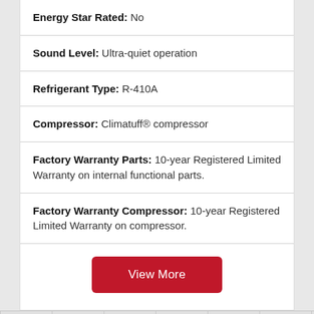Energy Star Rated: No
Sound Level: Ultra-quiet operation
Refrigerant Type: R-410A
Compressor: Climatuff® compressor
Factory Warranty Parts: 10-year Registered Limited Warranty on internal functional parts.
Factory Warranty Compressor: 10-year Registered Limited Warranty on compressor.
View More
GAS HEATING & ELECTRIC